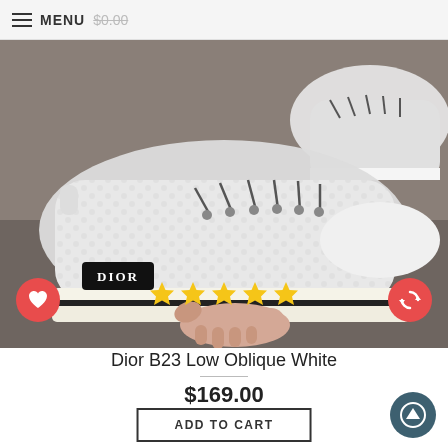≡ MENU  $0.00
[Figure (photo): A hand holding a Dior B23 Low Oblique White sneaker with a black DIOR logo patch and black stripe on the sole, showing the Oblique pattern on the canvas upper. A second sneaker is visible in the upper right corner.]
Dior B23 Low Oblique White
$169.00
ADD TO CART